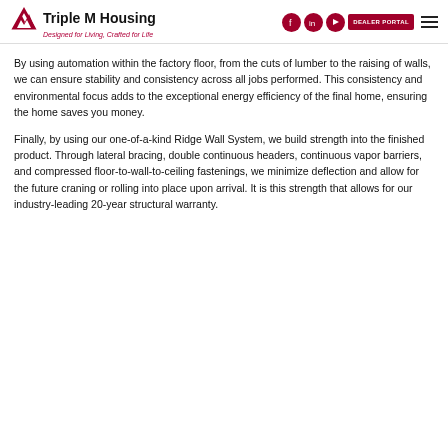Triple M Housing — Designed for Living, Crafted for Life
By using automation within the factory floor, from the cuts of lumber to the raising of walls, we can ensure stability and consistency across all jobs performed. This consistency and environmental focus adds to the exceptional energy efficiency of the final home, ensuring the home saves you money.
Finally, by using our one-of-a-kind Ridge Wall System, we build strength into the finished product. Through lateral bracing, double continuous headers, continuous vapor barriers, and compressed floor-to-wall-to-ceiling fastenings, we minimize deflection and allow for the future craning or rolling into place upon arrival. It is this strength that allows for our industry-leading 20-year structural warranty.